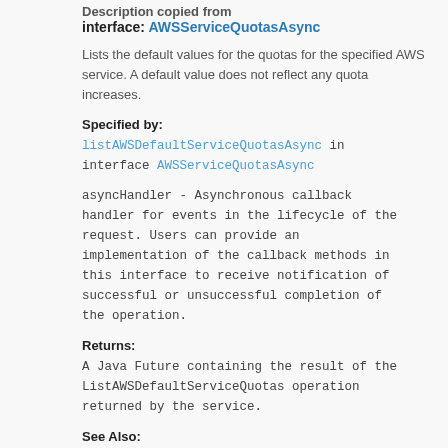Description copied from
interface: AWSServiceQuotasAsync
Lists the default values for the quotas for the specified AWS service. A default value does not reflect any quota increases.
Specified by:
listAWSDefaultServiceQuotasAsync in interface AWSServiceQuotasAsync
asyncHandler - Asynchronous callback handler for events in the lifecycle of the request. Users can provide an implementation of the callback methods in this interface to receive notification of successful or unsuccessful completion of the operation.
Returns:
A Java Future containing the result of the ListAWSDefaultServiceQuotas operation returned by the service.
See Also:
AWS API Documentation